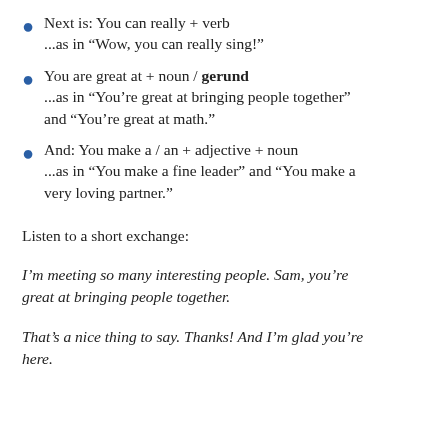Next is: You can really + verb ...as in “Wow, you can really sing!”
You are great at + noun / gerund ...as in “You’re great at bringing people together” and “You’re great at math.”
And: You make a / an + adjective + noun ...as in “You make a fine leader” and “You make a very loving partner.”
Listen to a short exchange:
I’m meeting so many interesting people. Sam, you’re great at bringing people together.
That’s a nice thing to say. Thanks! And I’m glad you’re here.